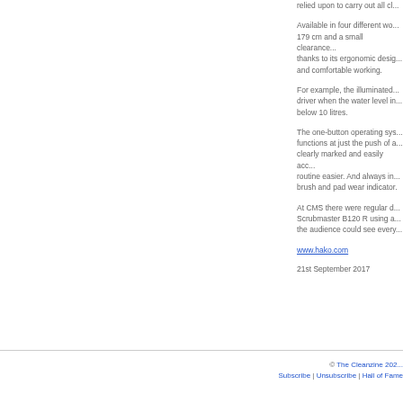relied upon to carry out all cl...
Available in four different wo... 179 cm and a small clearance... thanks to its ergonomic desig... and comfortable working.
For example, the illuminated... driver when the water level in... below 10 litres.
The one-button operating sys... functions at just the push of a... clearly marked and easily acc... routine easier. And always in... brush and pad wear indicator.
At CMS there were regular d... Scrubmaster B120 R using a... the audience could see every...
www.hako.com
21st September 2017
© The Cleanzine 202... Subscribe | Unsubscribe | Hall of Fame